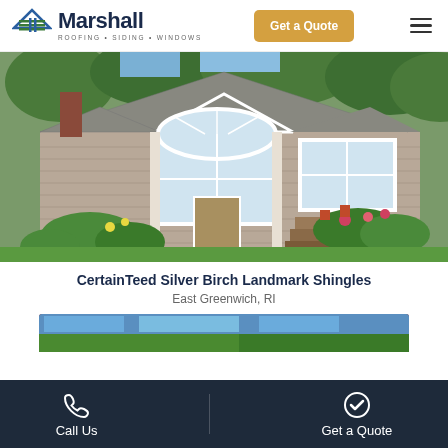[Figure (logo): Marshall Roofing Siding Windows logo with icon]
[Figure (other): Get a Quote orange button in header]
[Figure (photo): Exterior photo of a suburban home with gray shingle roof, large windows, white trim, and lush garden landscaping]
CertainTeed Silver Birch Landmark Shingles
East Greenwich, RI
[Figure (photo): Partial view of a second house project photo, showing blue sky and green grass]
Call Us    Get a Quote